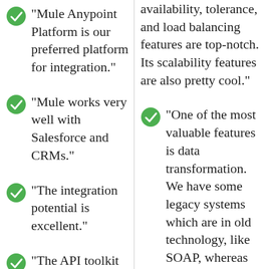"Mule Anypoint Platform is our preferred platform for integration."
"Mule works very well with Salesforce and CRMs."
"The integration potential is excellent."
"The API toolkit is
availability, tolerance, and load balancing features are top-notch. Its scalability features are also pretty cool."
"One of the most valuable features is data transformation. We have some legacy systems which are in old technology, like SOAP, whereas the new ones are in